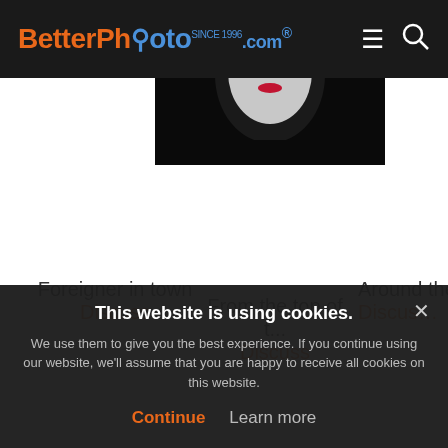BetterPhoto.com
[Figure (photo): Dark portrait photo showing a face with white makeup/mask, black background, partially cropped]
Foreigner in town
Discuss
From the top of t...
Discuss
Around the ...
Discuss
This website is using cookies.
We use them to give you the best experience. If you continue using our website, we'll assume that you are happy to receive all cookies on this website.
Continue  Learn more